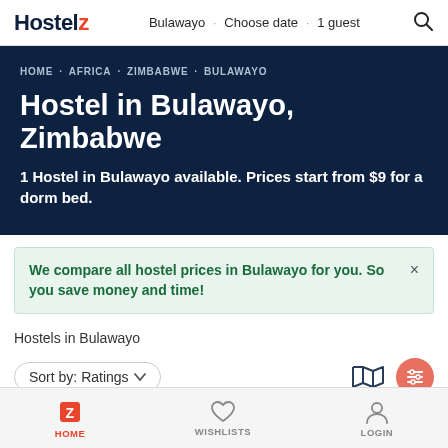Hostelz · Bulawayo · Choose date · 1 guest
Hostel in Bulawayo, Zimbabwe
HOME · AFRICA · ZIMBABWE · BULAWAYO
1 Hostel in Bulawayo available. Prices start from $9 for a dorm bed.
We compare all hostel prices in Bulawayo for you. So you save money and time!
Hostels in Bulawayo
Sort by: Ratings
HOME · WISHLISTS · LOGIN